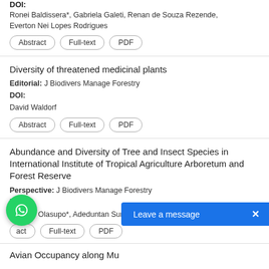DOI:
Ronei Baldissera*, Gabriela Galeti, Renan de Souza Rezende, Everton Nei Lopes Rodrigues
Abstract | Full-text | PDF
Diversity of threatened medicinal plants
Editorial: J Biodivers Manage Forestry
DOI:
David Waldorf
Abstract | Full-text | PDF
Abundance and Diversity of Tree and Insect Species in International Institute of Tropical Agriculture Arboretum and Forest Reserve
Perspective: J Biodivers Manage Forestry
DOI:
Shi'unle Olasupo*, Adeduntan Sunday, Johnson Olusola
Abstract | Full-text | PDF
Avian Occupancy along Mu...